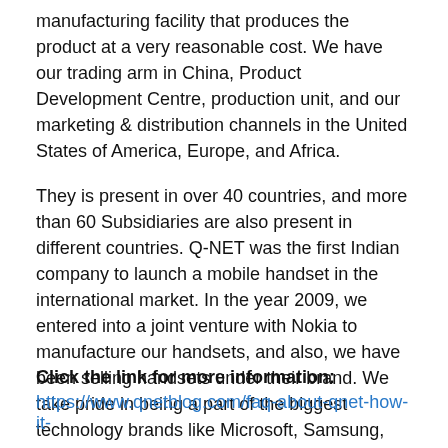manufacturing facility that produces the product at a very reasonable cost. We have our trading arm in China, Product Development Centre, production unit, and our marketing & distribution channels in the United States of America, Europe, and Africa.
They is present in over 40 countries, and more than 60 Subsidiaries are also present in different countries. Q-NET was the first Indian company to launch a mobile handset in the international market. In the year 2009, we entered into a joint venture with Nokia to manufacture our handsets, and also, we have been selling handsets under their brand. We take pride in being a part of the biggest technology brands like Microsoft, Samsung, and Nokia. You can visit this page to learn more.
Click the link for more information:
https://www.qnetblog.com/faq-about-qnet-how-it-